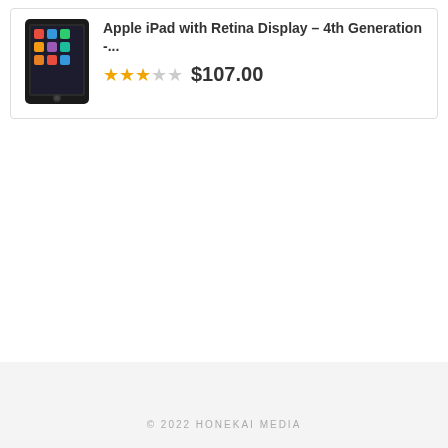[Figure (photo): Apple iPad with Retina Display tablet device shown from front]
Apple iPad with Retina Display – 4th Generation -...
★★★☆☆  $107.00
© 2022 HONEKAI MEDIA
^ TOP
[Figure (logo): reCAPTCHA badge with Google logo, Privacy and Terms links]